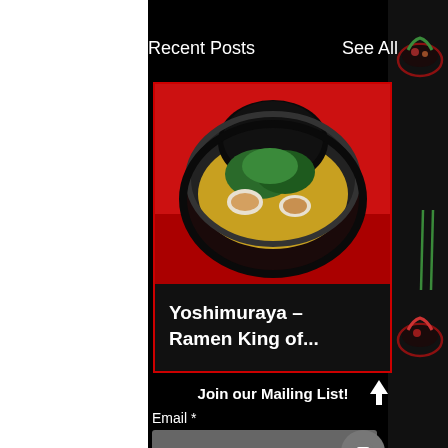Recent Posts
See All
[Figure (photo): Overhead shot of a ramen bowl with dark nori seaweed, green spinach, broth, and sliced chashu pork on a bright red background]
Yoshimuraya – Ramen King of...
Join our Mailing List!
Email *